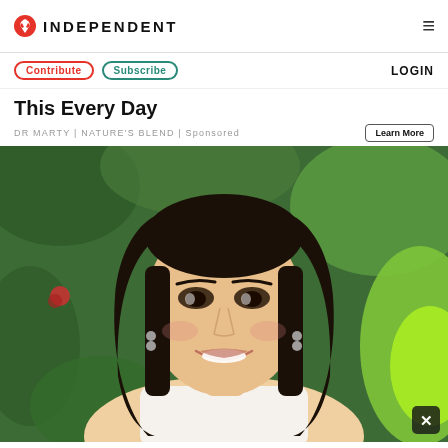INDEPENDENT
Contribute | Subscribe | LOGIN
This Every Day
DR MARTY | NATURE'S BLEND | Sponsored
[Figure (photo): Smiling young woman with long dark hair, wearing white top, photographed outdoors with green foliage background]